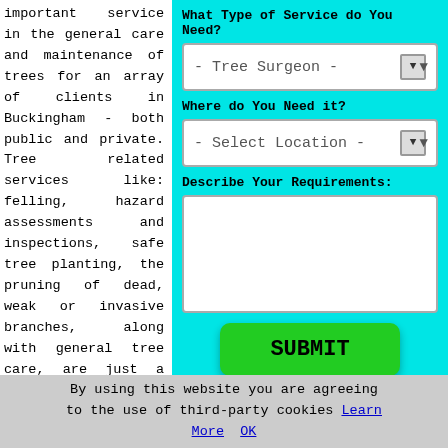important service in the general care and maintenance of trees for an array of clients in Buckingham - both public and private. Tree related services like: felling, hazard assessments and inspections, safe tree planting, the pruning of dead, weak or invasive branches, along with general tree care, are just a few examples of what a seasoned Buckingham tree surgeon can offer.
What Type of Service do You Need?
- Tree Surgeon -
Where do You Need it?
- Select Location -
Describe Your Requirements:
SUBMIT
By using this website you are agreeing to the use of third-party cookies Learn More OK